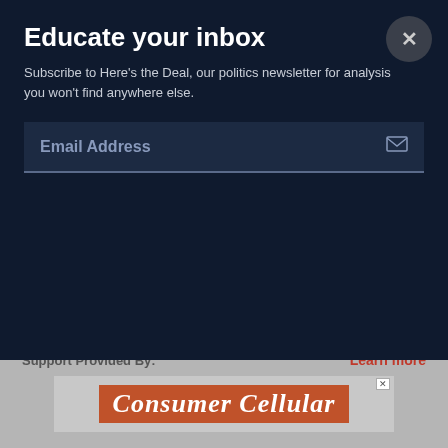Educate your inbox
Subscribe to Here's the Deal, our politics newsletter for analysis you won't find anywhere else.
Email Address
Yannet Lathrop is a policy analyst at the National Employment Law Project.
@YannetYannet
Support Provided By:
Learn more
[Figure (logo): Consumer Cellular advertisement banner in orange with white serif text]